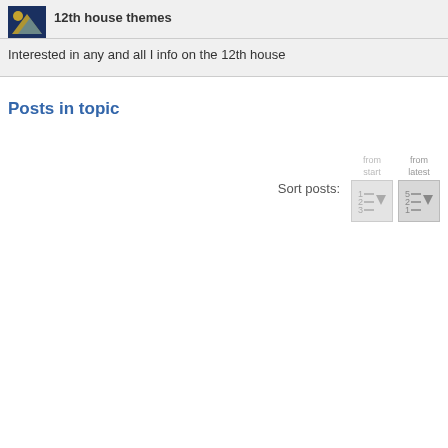12th house themes
Interested in any and all I info on the 12th house
Posts in topic
Sort posts:
[Figure (screenshot): Two sort buttons labeled 'from start' and 'from latest' with dropdown arrow icons showing numbered lists]
from start
from latest